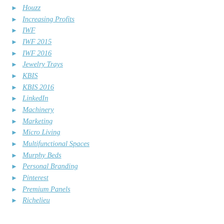Houzz
Increasing Profits
IWF
IWF 2015
IWF 2016
Jewelry Trays
KBIS
KBIS 2016
LinkedIn
Machinery
Marketing
Micro Living
Multifunctional Spaces
Murphy Beds
Personal Branding
Pinterest
Premium Panels
Richelieu